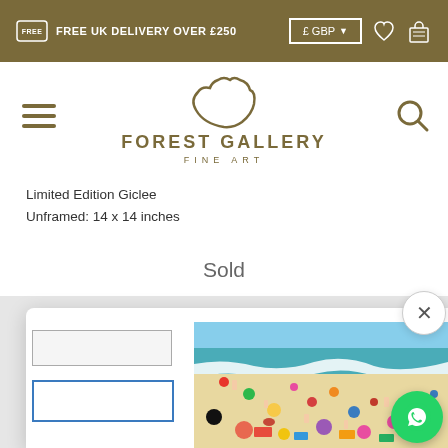FREE UK DELIVERY OVER £250
[Figure (logo): Forest Gallery Fine Art logo — stylized animal head above text FOREST GALLERY FINE ART]
Limited Edition Giclee
Unframed: 14 x 14 inches
Sold
[Figure (photo): Aerial view of a busy beach with colorful umbrellas, towels, and beachgoers on sandy shore with turquoise ocean waves]